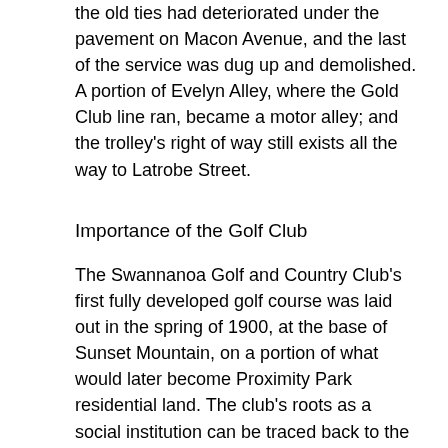the old ties had deteriorated under the pavement on Macon Avenue, and the last of the service was dug up and demolished. A portion of Evelyn Alley, where the Gold Club line ran, became a motor alley; and the trolley's right of way still exists all the way to Latrobe Street.
Importance of the Golf Club
The Swannanoa Golf and Country Club's first fully developed golf course was laid out in the spring of 1900, at the base of Sunset Mountain, on a portion of what would later become Proximity Park residential land. The club's roots as a social institution can be traced back to the Asheville Hunt Club, the primary purpose of which was fox hunting. Only two of its members had seen the game of golf played, but in 1896 the name was changed to prominently include the sport. Members felt that golf needed to be established in Asheville to reinforce the city's position